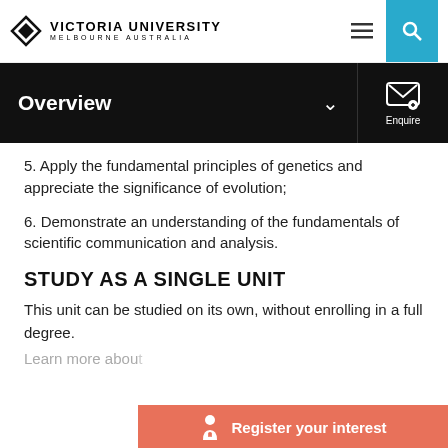Victoria University Melbourne Australia
Overview
5. Apply the fundamental principles of genetics and appreciate the significance of evolution;
6. Demonstrate an understanding of the fundamentals of scientific communication and analysis.
STUDY AS A SINGLE UNIT
This unit can be studied on its own, without enrolling in a full degree.
Learn more abou...
Register your interest